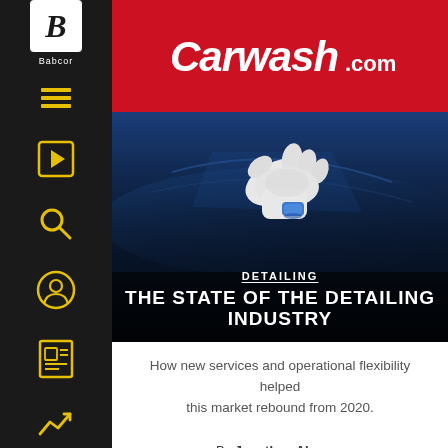[Figure (logo): Babcor logo with stylized italic B on white square background, with text 'Babcor' below]
[Figure (logo): Carwash.com logo in white italic text on red background]
[Figure (photo): A gloved hand applying a blue product to the hood of a shiny blue car]
DETAILING
THE STATE OF THE DETAILING INDUSTRY
How new services and operational flexibility helped this market rebound from 2020.
By Jonathan Abrams
on August 16, 2021
After more than a year of uncertainty, many